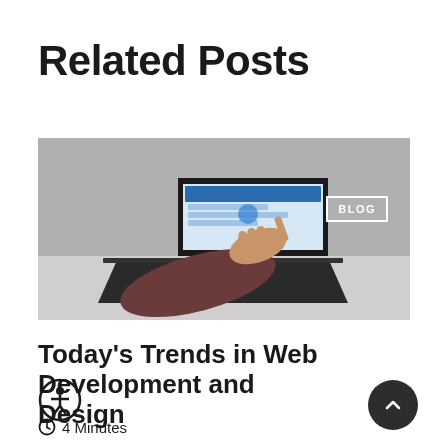Related Posts
[Figure (photo): Person's hand using a laptop touchscreen, viewed from the side. A 'BLOG' badge is overlaid in the upper right of the image.]
Today's Trends in Web Development and Design
4 Minutes